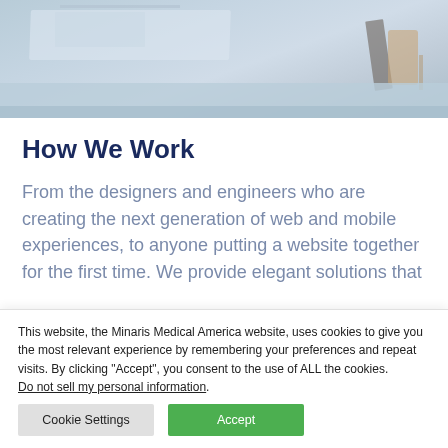[Figure (photo): Office desk scene with laptop, papers, and chair visible from above at an angle. Light blue-toned background with desk surface.]
How We Work
From the designers and engineers who are creating the next generation of web and mobile experiences, to anyone putting a website together for the first time. We provide elegant solutions that
This website, the Minaris Medical America website, uses cookies to give you the most relevant experience by remembering your preferences and repeat visits. By clicking “Accept”, you consent to the use of ALL the cookies.
Do not sell my personal information.
Cookie Settings
Accept